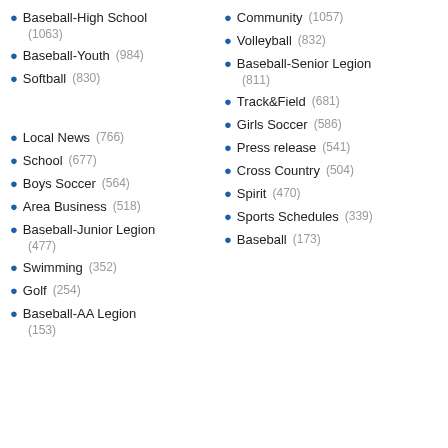Baseball-High School (1063)
Community (1057)
Baseball-Youth (984)
Volleyball (832)
Softball (830)
Baseball-Senior Legion (811)
Local News (766)
Track&Field (681)
School (677)
Girls Soccer (586)
Boys Soccer (564)
Press release (541)
Area Business (518)
Cross Country (504)
Baseball-Junior Legion (477)
Spirit (470)
Swimming (352)
Sports Schedules (339)
Golf (254)
Baseball (173)
Baseball-AA Legion (153)